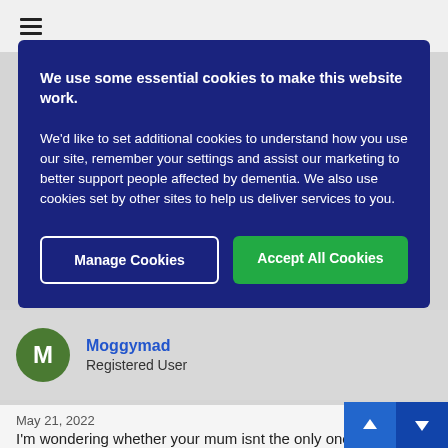We use some essential cookies to make this website work.

We'd like to set additional cookies to understand how you use our site, remember your settings and assist our marketing to better support people affected by dementia. We also use cookies set by other sites to help us deliver services to you.
Manage Cookies
Accept All Cookies
Moggymad
Registered User
May 21, 2022
#1,248
I'm wondering whether your mum isnt the only one to ha...er...d items go missing recently. The fact that no one has conta...ed you about it & the absence is not of them...